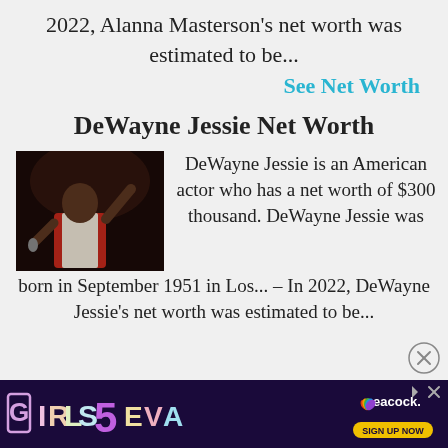2022, Alanna Masterson's net worth was estimated to be...
See Net Worth
DeWayne Jessie Net Worth
[Figure (photo): Photo of DeWayne Jessie performing on stage in a red vest, holding a microphone with one hand raised]
DeWayne Jessie is an American actor who has a net worth of $300 thousand. DeWayne Jessie was born in September 1951 in Los... – In 2022, DeWayne Jessie's net worth was estimated to be...
[Figure (infographic): Girls5eva advertisement banner with Peacock logo and Sign Up Now button on dark purple background]